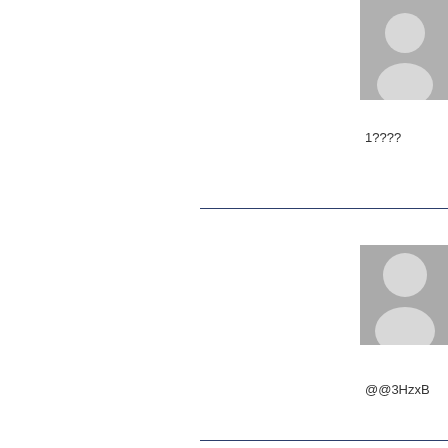[Figure (photo): Default user avatar silhouette (grey), partially visible at top]
Posted Janua
1????
[Figure (photo): Default user avatar silhouette (grey)]
gbvmwxkj
Posted Janua
@@3HzxB
[Figure (photo): Default user avatar silhouette (grey)]
gbvmwxkj
Posted Janua
Jyl=